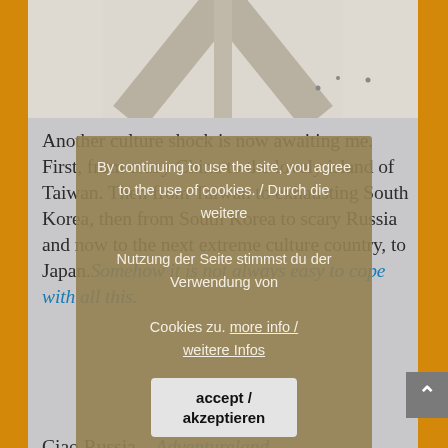[Figure (photo): Partial photo visible at top of page, light colored background with diagonal lines suggesting a building or structure]
Another culture shock is now awaiting me. First, from crazy China to the lovely island of Taiwan. Then from Taiwan to exhausting South Korea, then from South Korea to scary Russia and now to the next extreme culture country, to Japan. Somehow it is not always easy to cope with all this.
Ciao Russia – Adventureland…..
← No.46 - Russia – The Russian adventure continues
No.48 - Japan - Wonderful Hokkaido →
By continuing to use the site, you agree to the use of cookies. / Durch die weitere Nutzung der Seite stimmst du der Verwendung von Cookies zu. more info / weitere Infos
accept / akzeptieren